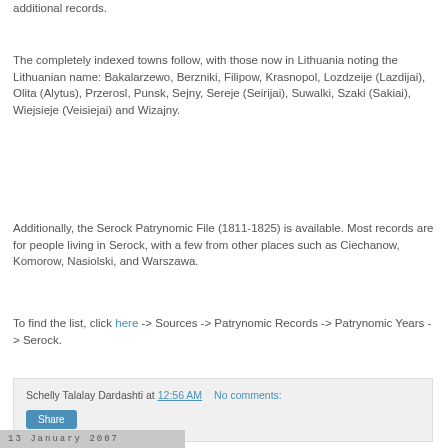additional records.
The completely indexed towns follow, with those now in Lithuania noting the Lithuanian name: Bakalarzewo, Berzniki, Filipow, Krasnopol, Lozdzeije (Lazdijai), Olita (Alytus), Przerosl, Punsk, Sejny, Sereje (Seirijai), Suwalki, Szaki (Sakiai), Wiejsieje (Veisiejai) and Wizajny.
Additionally, the Serock Patrynomic File (1811-1825) is available. Most records are for people living in Serock, with a few from other places such as Ciechanow, Komorow, Nasiolski, and Warszawa.
To find the list, click here -> Sources -> Patrynomic Records -> Patrynomic Years -> Serock.
Schelly Talalay Dardashti at 12:56 AM    No comments:
Share
13 January 2007